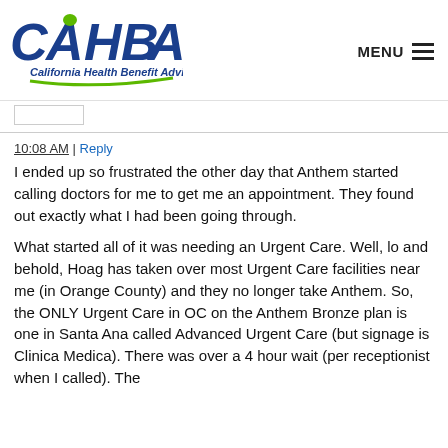[Figure (logo): CAHBA - California Health Benefit Advisers logo with blue bold letters and green accent]
10:08 AM | Reply
I ended up so frustrated the other day that Anthem started calling doctors for me to get me an appointment. They found out exactly what I had been going through.
What started all of it was needing an Urgent Care. Well, lo and behold, Hoag has taken over most Urgent Care facilities near me (in Orange County) and they no longer take Anthem. So, the ONLY Urgent Care in OC on the Anthem Bronze plan is one in Santa Ana called Advanced Urgent Care (but signage is Clinica Medica). There was over a 4 hour wait (per receptionist when I called). The